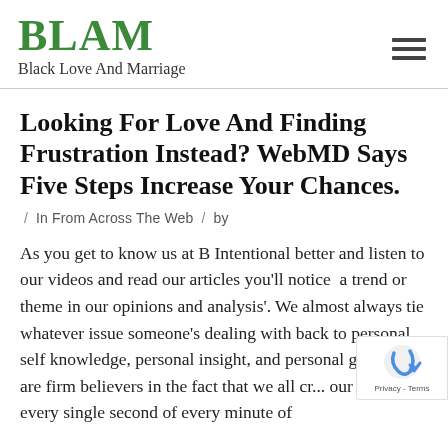BLAM Black Love And Marriage
Looking For Love And Finding Frustration Instead? WebMD Says Five Steps Increase Your Chances.
/ In From Across The Web / by
As you get to know us at B Intentional better and listen to our videos and read our articles you'll notice  a trend or theme in our opinions and analysis'. We almost always tie whatever issue someone's dealing with back to personal self knowledge, personal insight, and personal gro... We are firm believers in the fact that we all cr... our realties every single second of every minute of